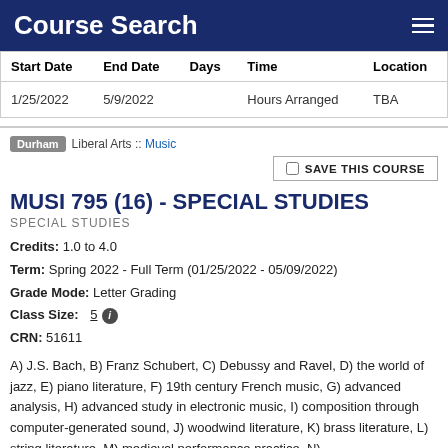Course Search
| Start Date | End Date | Days | Time | Location |
| --- | --- | --- | --- | --- |
| 1/25/2022 | 5/9/2022 |  | Hours Arranged | TBA |
Durham  Liberal Arts :: Music
SAVE THIS COURSE
MUSI 795 (16) - SPECIAL STUDIES
SPECIAL STUDIES
Credits: 1.0 to 4.0
Term: Spring 2022 - Full Term (01/25/2022 - 05/09/2022)
Grade Mode: Letter Grading
Class Size: 5
CRN: 51611
A) J.S. Bach, B) Franz Schubert, C) Debussy and Ravel, D) the world of jazz, E) piano literature, F) 19th century French music, G) advanced analysis, H) advanced study in electronic music, I) composition through computer-generated sound, J) woodwind literature, K) brass literature, L) string literature, M) medieval performance practice, N)